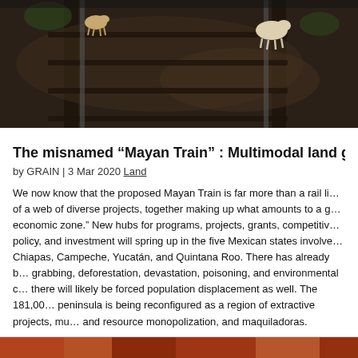[Figure (photo): Dark overhead photo of railway tracks with two dogs visible on them, surrounded by gravel and dark earth.]
The misnamed “Mayan Train” : Multimodal land grabb…
by GRAIN | 3 Mar 2020 Land
We now know that the proposed Mayan Train is far more than a rail li… of a web of diverse projects, together making up what amounts to a g… economic zone.” New hubs for programs, projects, grants, competitiv… policy, and investment will spring up in the five Mexican states involve… Chiapas, Campeche, Yucatán, and Quintana Roo. There has already b… grabbing, deforestation, devastation, poisoning, and environmental c… there will likely be forced population displacement as well. The 181,00… peninsula is being reconfigured as a region of extractive projects, mu… and resource monopolization, and maquiladoras.
[Figure (photo): Partial photo visible at bottom of page, colorful scene.]